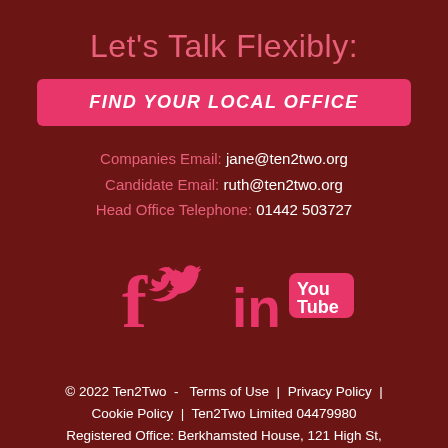Let's Talk Flexibly:
FIND YOUR LOCAL OFFICE
Companies Email: jane@ten2two.org
Candidate Email: ruth@ten2two.org
Head Office Telephone: 01442 503727
[Figure (illustration): Social media icons: Facebook, Twitter, LinkedIn, YouTube]
© 2022 Ten2Two  -  Terms of Use  |  Privacy Policy  |  Cookie Policy  |  Ten2Two Limited 04479980
Registered Office: Berkhamsted House, 121 High St, Berkhamsted, Herts, HP4 2DJ
[Figure (logo): REC Member logo]